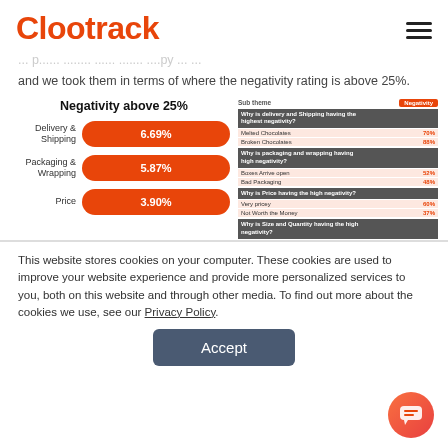Clootrack
and we took them in terms of where the negativity rating is above 25%.
[Figure (bar-chart): Negativity above 25%]
| Sub theme | Negativity |
| --- | --- |
| Why is delivery and Shipping having the highest negativity? |  |
| Melted Chocolates | 70% |
| Broken Chocolates | 88% |
| Why is packaging and wrapping having high negativity? |  |
| Boxes Arrive open | 52% |
| Bad Packaging | 48% |
| Why is Price having the high negativity? |  |
| Very pricey | 60% |
| Not Worth the Money | 37% |
| Why is Size and Quantity having the high negativity? |  |
This website stores cookies on your computer. These cookies are used to improve your website experience and provide more personalized services to you, both on this website and through other media. To find out more about the cookies we use, see our Privacy Policy.